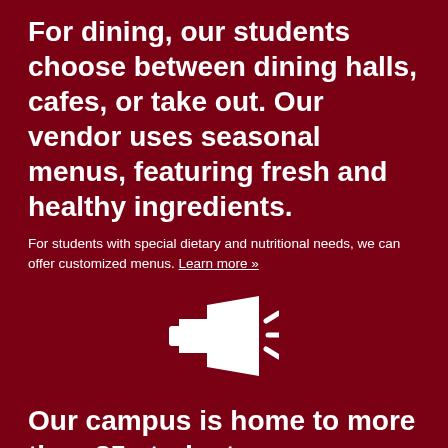For dining, our students choose between dining halls, cafes, or take out. Our vendor uses seasonal menus, featuring fresh and healthy ingredients.
For students with special dietary and nutritional needs, we can offer customized menus. Learn more »
[Figure (illustration): White megaphone/bullhorn icon on dark red background]
Our campus is home to more than 85 student organizations, and if you don't find one you like, we'll help you start one!
Find what you're passionate about, and make it the best four years of your life. Learn more »
[Figure (illustration): White globe icon partially visible at bottom of page]